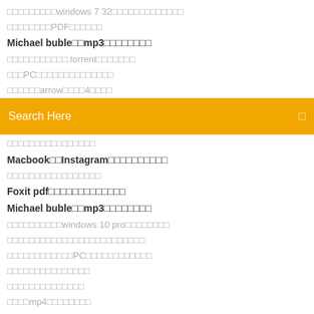□□□□□□□□□windows 7 32□□□□□□□□□□□□□
□□□□□□□□PDF□□□□□□
Michael buble□□mp3□□□□□□□□
□□□□□□□□□□□.torrent□□□□□□□
□□□PC□□□□□□□□□□□□□□
□□□□□□arrow□□□□4□□□□
[Figure (screenshot): Search bar with orange/yellow background and 'Search Here' placeholder text with a search icon on the right]
□□□□□□□□□□□□□□□□
Macbook□□Instagram□□□□□□□□□□
□□□□□□□□□□□□□□□□□
Foxit pdf□□□□□□□□□□□□□
Michael buble□□mp3□□□□□□□□
□□□□□□□□□□windows 10 pro□□□□□□□□
□□□□□□□□□□□□□□□□□□□□□□□□□
□□□□□□□□□□□□PC□□□□□□□□□□□□
□□□□□□□□□□□□□□□
□□□□□□□□□□□□□□
□□□□mp4□□□□□□□□